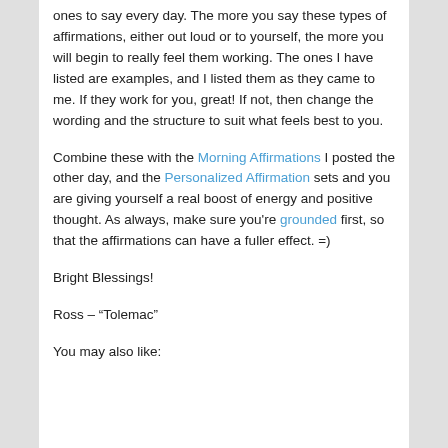ones to say every day. The more you say these types of affirmations, either out loud or to yourself, the more you will begin to really feel them working. The ones I have listed are examples, and I listed them as they came to me. If they work for you, great! If not, then change the wording and the structure to suit what feels best to you.
Combine these with the Morning Affirmations I posted the other day, and the Personalized Affirmation sets and you are giving yourself a real boost of energy and positive thought. As always, make sure you're grounded first, so that the affirmations can have a fuller effect. =)
Bright Blessings!
Ross – "Tolemac"
You may also like: